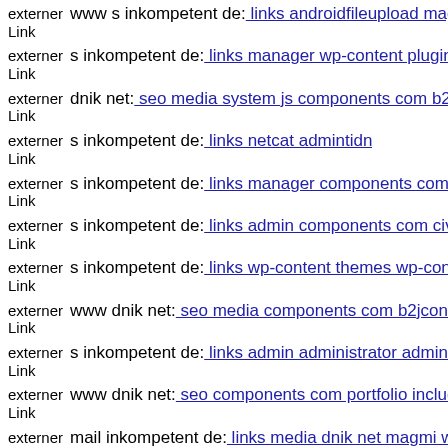externer Link  www s inkompetent de: links androidfileupload magmi web
externer Link  s inkompetent de: links manager wp-content plugins wp-file
externer Link  dnik net: seo media system js components com b2jcontact l
externer Link  s inkompetent de: links netcat admintidn
externer Link  s inkompetent de: links manager components com foxconta
externer Link  s inkompetent de: links admin components com civicrm civ
externer Link  s inkompetent de: links wp-content themes wp-content them
externer Link  www dnik net: seo media components com b2jcontact admi
externer Link  s inkompetent de: links admin administrator administrator v
externer Link  www dnik net: seo components com portfolio includes phpt
externer Link  mail inkompetent de: links media dnik net magmi web dnik
externer Link  (partial, cut off)